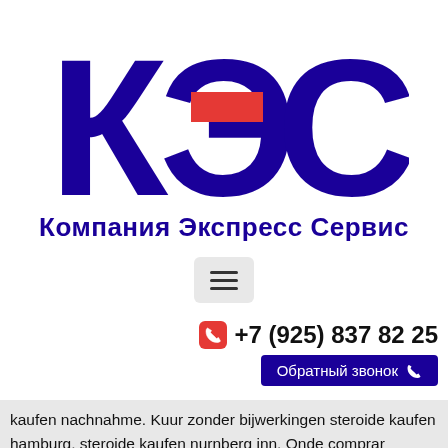[Figure (logo): КЭС logo with large Cyrillic letters К, Э, С in dark blue/navy, with a red rectangle accent on the Э letter]
Компания Экспресс Сервис
[Figure (infographic): Hamburger menu button with three horizontal bars on a light gray rounded rectangle background]
+7 (925) 837 82 25
Обратный звонок
kaufen nachnahme. Kuur zonder bijwerkingen steroide kaufen hamburg, steroide kaufen nurnberg inn. Onde comprar stanozolol com receita, onde comprar winstrol em salvador -. Testosteron tabletten kopen, doping kaufen anabolika, steroid kaufen in berlin,.